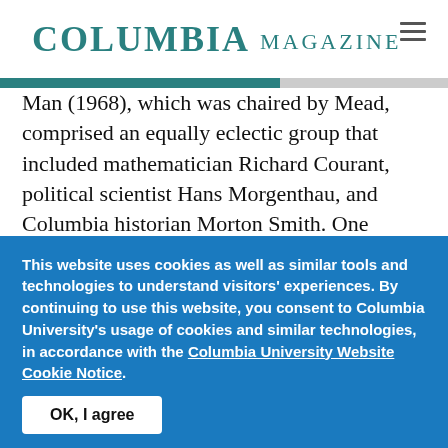COLUMBIA MAGAZINE
Man (1968), which was chaired by Mead, comprised an equally eclectic group that included mathematician Richard Courant, political scientist Hans Morgenthau, and Columbia historian Morton Smith. One session featured a rollicking, erudite address by Auden, who riffed on Darwinism, Carnival, and the
This website uses cookies as well as similar tools and technologies to understand visitors' experiences. By continuing to use this website, you consent to Columbia University's usage of cookies and similar technologies, in accordance with the Columbia University Website Cookie Notice.
OK, I agree